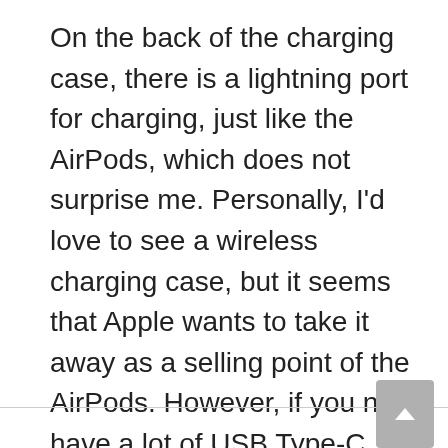On the back of the charging case, there is a lightning port for charging, just like the AirPods, which does not surprise me. Personally, I'd love to see a wireless charging case, but it seems that Apple wants to take it away as a selling point of the AirPods. However, if you now have a lot of USB Type-C components, you are out of luck.